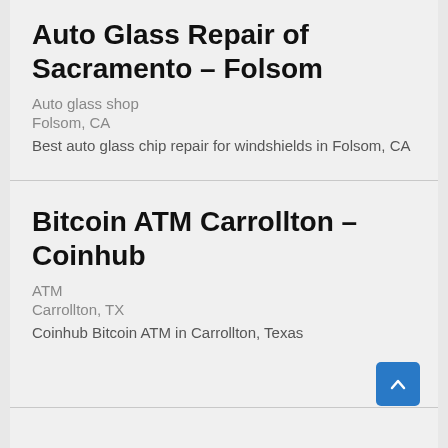Auto Glass Repair of Sacramento – Folsom
Auto glass shop
Folsom, CA
Best auto glass chip repair for windshields in Folsom, CA
Bitcoin ATM Carrollton – Coinhub
ATM
Carrollton, TX
Coinhub Bitcoin ATM in Carrollton, Texas